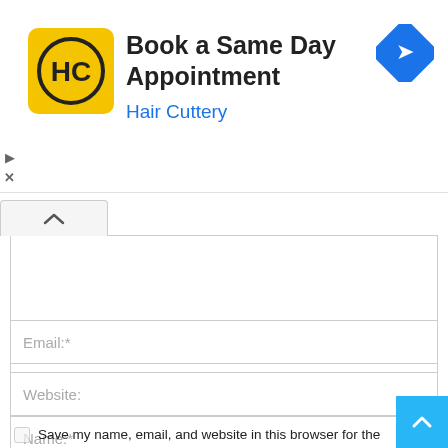[Figure (screenshot): Hair Cuttery advertisement banner: yellow square logo with 'HC' text, title 'Book a Same Day Appointment', subtitle 'Hair Cuttery' in blue, blue diamond navigation icon on right, play and close controls on left]
[Figure (screenshot): Web form with chevron/collapse tab, large textarea, Name field, Email field, Website field, and a checkbox labeled 'Save my name, email, and website in this browser for the next time I comment.' A teal scroll-to-top button is in the bottom right corner.]